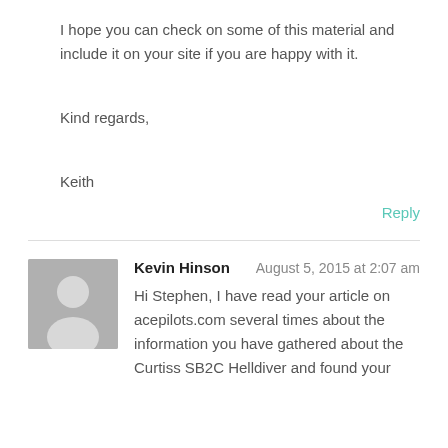I hope you can check on some of this material and include it on your site if you are happy with it.
Kind regards,
Keith
Reply
Kevin Hinson — August 5, 2015 at 2:07 am
Hi Stephen, I have read your article on acepilots.com several times about the information you have gathered about the Curtiss SB2C Helldiver and found your